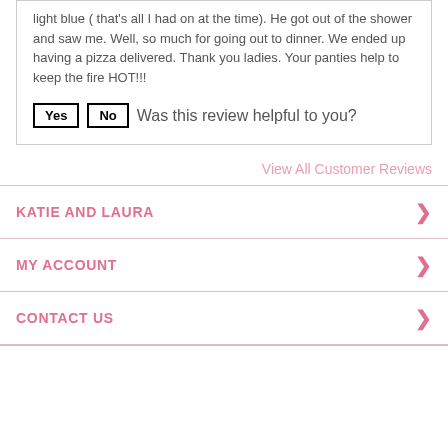light blue ( that's all I had on at the time). He got out of the shower and saw me. Well, so much for going out to dinner. We ended up having a pizza delivered. Thank you ladies. Your panties help to keep the fire HOT!!!
Yes  No  Was this review helpful to you?
View All Customer Reviews
KATIE AND LAURA
MY ACCOUNT
CONTACT US